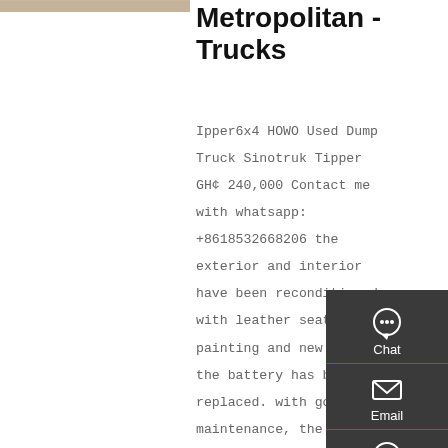[Figure (photo): Partial view of a truck or vehicle, cropped at top-left corner]
Metropolitan - Trucks
Ipper6x4 HOWO Used Dump Truck Sinotruk Tipper GH¢ 240,000 Contact me with whatsapp: +8618532668206 the exterior and interior have been reconditioned. with leather seats, new painting and new lamps. the battery has been replaced. with good maintenance, the vehicle has good performance,